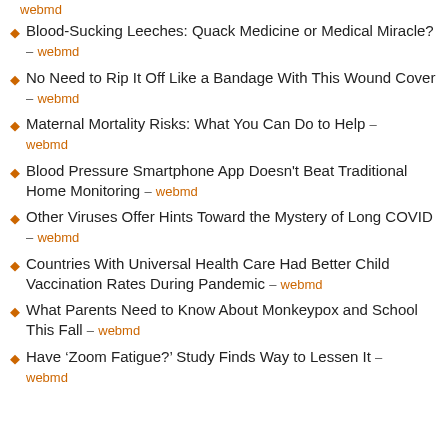webmd
Blood-Sucking Leeches: Quack Medicine or Medical Miracle? – webmd
No Need to Rip It Off Like a Bandage With This Wound Cover – webmd
Maternal Mortality Risks: What You Can Do to Help – webmd
Blood Pressure Smartphone App Doesn't Beat Traditional Home Monitoring – webmd
Other Viruses Offer Hints Toward the Mystery of Long COVID – webmd
Countries With Universal Health Care Had Better Child Vaccination Rates During Pandemic – webmd
What Parents Need to Know About Monkeypox and School This Fall – webmd
Have 'Zoom Fatigue?' Study Finds Way to Lessen It – webmd